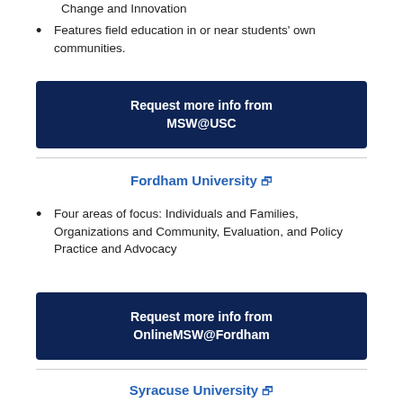Change and Innovation
Features field education in or near students' own communities.
[Figure (other): Button: Request more info from MSW@USC]
Fordham University
Four areas of focus: Individuals and Families, Organizations and Community, Evaluation, and Policy Practice and Advocacy
[Figure (other): Button: Request more info from OnlineMSW@Fordham]
Syracuse University